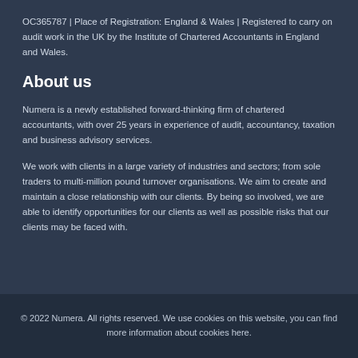OC365787 | Place of Registration: England & Wales | Registered to carry on audit work in the UK by the Institute of Chartered Accountants in England and Wales.
About us
Numera is a newly established forward-thinking firm of chartered accountants, with over 25 years in experience of audit, accountancy, taxation and business advisory services.
We work with clients in a large variety of industries and sectors; from sole traders to multi-million pound turnover organisations. We aim to create and maintain a close relationship with our clients. By being so involved, we are able to identify opportunities for our clients as well as possible risks that our clients may be faced with.
© 2022 Numera. All rights reserved. We use cookies on this website, you can find more information about cookies here.